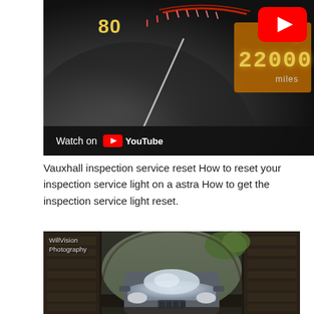[Figure (screenshot): YouTube video thumbnail showing a Vauxhall car dashboard with speedometer reading 80, inspection service indicator showing 'Insp' and odometer reading '22000 miles'. A red YouTube play button is visible in the top right. A 'Watch on YouTube' bar is at the bottom left of the video.]
Vauxhall inspection service reset How to reset your inspection service light on a astra How to get the inspection service light reset.
[Figure (photo): Photo of a car (Vauxhall Astra) photographed from the front inside a dark stone tunnel or underpass. The photo is watermarked with 'WillVision Photography' in the top left corner.]